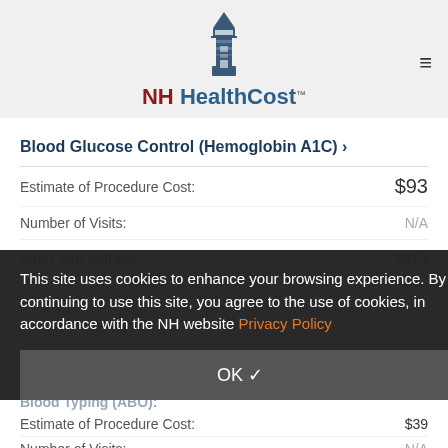NH HealthCost
Blood Glucose Control (Hemoglobin A1C) ›
Estimate of Procedure Cost: $93
Number of Visits: N/A
What You Will Pay: $93
This site uses cookies to enhance your browsing experience. By continuing to use this site, you agree to the use of cookies, in accordance with the NH website Privacy Policy
OK ✓
Blood Typing (ABO):
Estimate of Procedure Cost: $39
Number of Visits: N/A